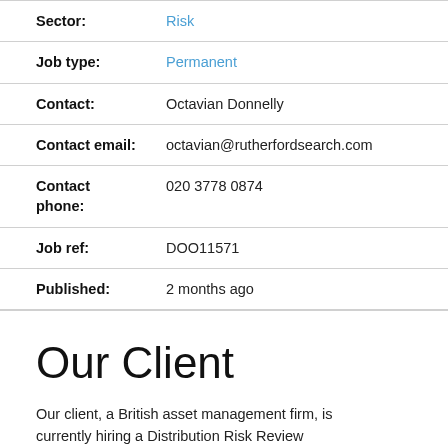| Sector: | Risk |
| Job type: | Permanent |
| Contact: | Octavian Donnelly |
| Contact email: | octavian@rutherfordsearch.com |
| Contact phone: | 020 3778 0874 |
| Job ref: | DOO11571 |
| Published: | 2 months ago |
Our Client
Our client, a British asset management firm, is currently hiring a Distribution Risk Review...